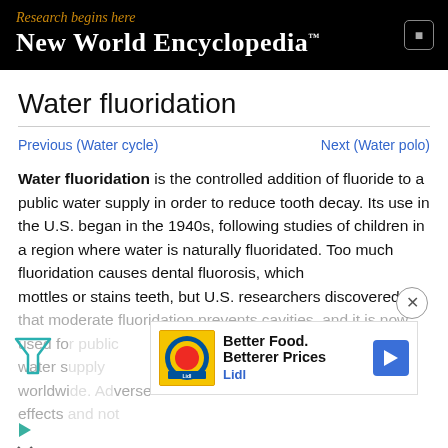Research begins here
New World Encyclopedia™
Water fluoridation
Previous (Water cycle)    Next (Water polo)
Water fluoridation is the controlled addition of fluoride to a public water supply in order to reduce tooth decay. Its use in the U.S. began in the 1940s, following studies of children in a region where water is naturally fluoridated. Too much fluoridation causes dental fluorosis, which mottles or stains teeth, but U.S. researchers discovered that moderate fluoridation prevents cavities, and it is now used for public water supplies worldwide. Adverse effects and not
[Figure (other): Lidl advertisement banner: 'Better Food. Betterer Prices - Lidl' with yellow/green logo and blue arrow icon]